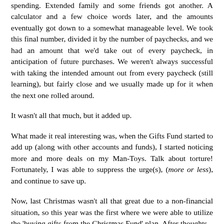spending. Extended family and some friends got another. A calculator and a few choice words later, and the amounts eventually got down to a somewhat manageable level. We took this final number, divided it by the number of paychecks, and we had an amount that we'd take out of every paycheck, in anticipation of future purchases. We weren't always successful with taking the intended amount out from every paycheck (still learning), but fairly close and we usually made up for it when the next one rolled around.
It wasn't all that much, but it added up.
What made it real interesting was, when the Gifts Fund started to add up (along with other accounts and funds), I started noticing more and more deals on my Man-Toys. Talk about torture! Fortunately, I was able to suppress the urge(s), (more or less), and continue to save up.
Now, last Christmas wasn't all that great due to a non-financial situation, so this year was the first where we were able to utilize the 'buying gifts from the Christmas Fund' plan. After thoughts... I'm going to need to increase the amount